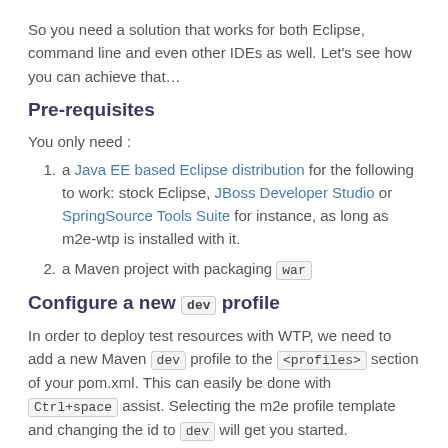So you need a solution that works for both Eclipse, command line and even other IDEs as well. Let's see how you can achieve that…
Pre-requisites
You only need :
1. a Java EE based Eclipse distribution for the following to work: stock Eclipse, JBoss Developer Studio or SpringSource Tools Suite for instance, as long as m2e-wtp is installed with it.
2. a Maven project with packaging war
Configure a new dev profile
In order to deploy test resources with WTP, we need to add a new Maven dev profile to the <profiles> section of your pom.xml. This can easily be done with Ctrl+space assist. Selecting the m2e profile template and changing the id to dev will get you started.
The profile is automatically enabled when running in m2e, via